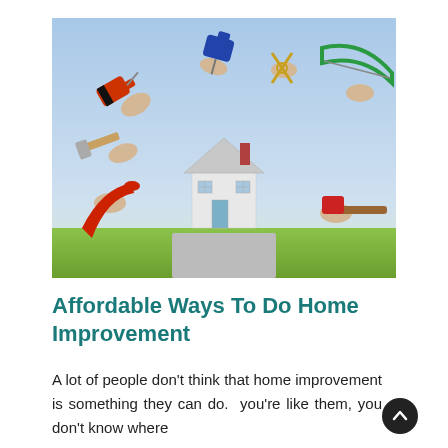[Figure (photo): Photo of multiple gloved hands holding various construction/home improvement tools (drill, angle grinder, hacksaw, hammer, wrench, paintbrush) arranged around a small model house, against a blue sky background.]
Affordable Ways To Do Home Improvement
A lot of people don't think that home improvement is something they can do. you're like them, you don't know where